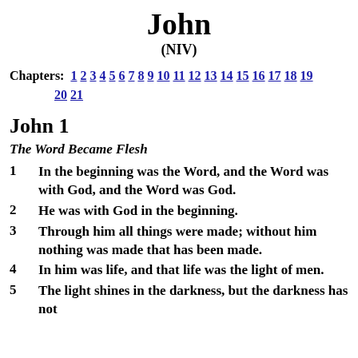John
(NIV)
Chapters: 1 2 3 4 5 6 7 8 9 10 11 12 13 14 15 16 17 18 19 20 21
John 1
The Word Became Flesh
1 In the beginning was the Word, and the Word was with God, and the Word was God.
2 He was with God in the beginning.
3 Through him all things were made; without him nothing was made that has been made.
4 In him was life, and that life was the light of men.
5 The light shines in the darkness, but the darkness has not